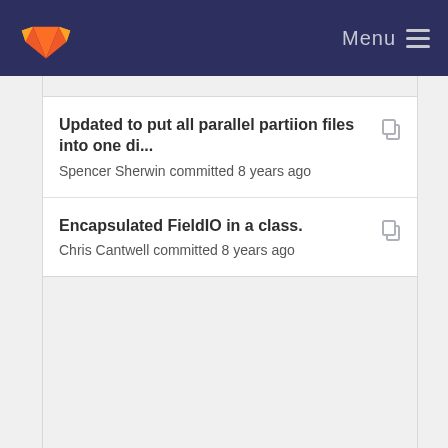Menu
Updated to put all parallel partiion files into one di...
Spencer Sherwin committed 8 years ago
Encapsulated FieldIO in a class.
Chris Cantwell committed 8 years ago